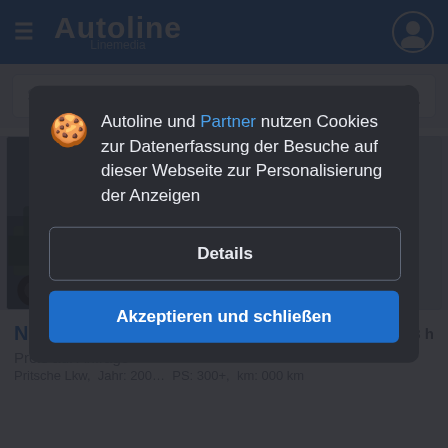Autoline Linemedia
Suche...
[Figure (photo): Vehicle listing thumbnails row showing a green/dark truck on the left, and two empty gray placeholder boxes]
NISSAN Atleen 140  33 h
Preis auf Anfrage
Pritsche Lkw,  Jahr: 2000,  PS: 300+,  km: 000 km
Autoline und Partner nutzen Cookies zur Datenerfassung der Besuche auf dieser Webseite zur Personalisierung der Anzeigen
Details
Akzeptieren und schließen